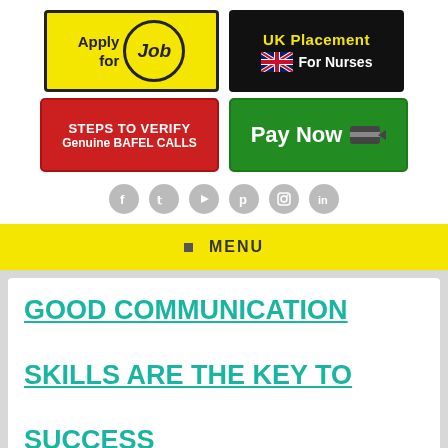[Figure (logo): Apply for Job banner - yellow background with black border, text 'Apply for' and 'Job' in a circle with magnifying glass]
[Figure (logo): UK Placement For Nurses banner - black background with yellow 'UK Placement' text, UK flag icon, and white 'For Nurses' text]
[Figure (logo): Red button: STEPS TO VERIFY Genuine BAFEL CALLS]
[Figure (logo): Green button: Pay Now with credit card icon]
[Figure (infographic): Social media icons row: Facebook, Twitter, YouTube, Pinterest, Instagram, LinkedIn - all in grey circles]
MENU
GOOD COMMUNICATION SKILLS ARE THE KEY TO SUCCESS